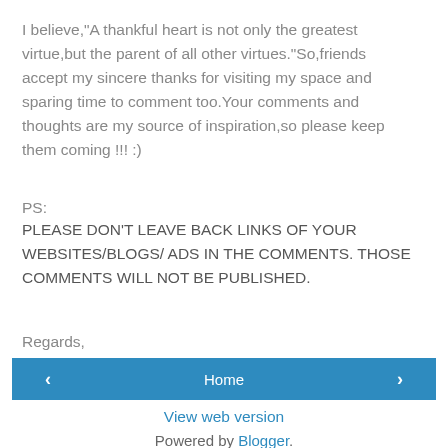I believe,"A thankful heart is not only the greatest virtue,but the parent of all other virtues."So,friends accept my sincere thanks for visiting my space and sparing time to comment too.Your comments and thoughts are my source of inspiration,so please keep them coming !!! :)
PS:
PLEASE DON'T LEAVE BACK LINKS OF YOUR WEBSITES/BLOGS/ ADS IN THE COMMENTS. THOSE COMMENTS WILL NOT BE PUBLISHED.

Regards,
Julie
Home
View web version
Powered by Blogger.